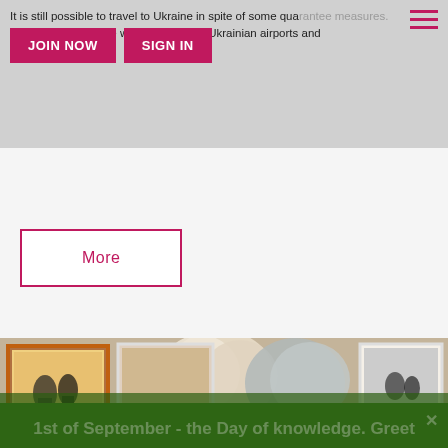It is still possible to travel to Ukraine in spite of some qua... D... dance note for those who arrive at the Ukrainian airports and
[Figure (screenshot): JOIN NOW and SIGN IN navigation buttons on grey background]
[Figure (screenshot): Hamburger menu icon (three horizontal red lines) top right]
[Figure (screenshot): More button - outlined in crimson on white/grey background]
[Figure (photo): Wedding photo strip showing framed wedding photos on a wall with flower bouquet arrangement in front]
1st of September - the Day of knowledge. Greet your lady ❤ and her child!